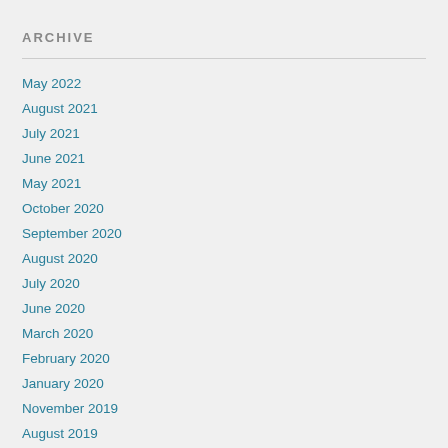ARCHIVE
May 2022
August 2021
July 2021
June 2021
May 2021
October 2020
September 2020
August 2020
July 2020
June 2020
March 2020
February 2020
January 2020
November 2019
August 2019
July 2019
June 2019